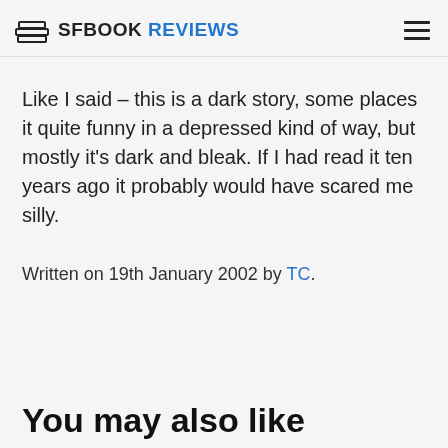SFBOOK REVIEWS
Like I said – this is a dark story, some places it quite funny in a depressed kind of way, but mostly it's dark and bleak. If I had read it ten years ago it probably would have scared me silly.
Written on 19th January 2002 by TC.
You may also like